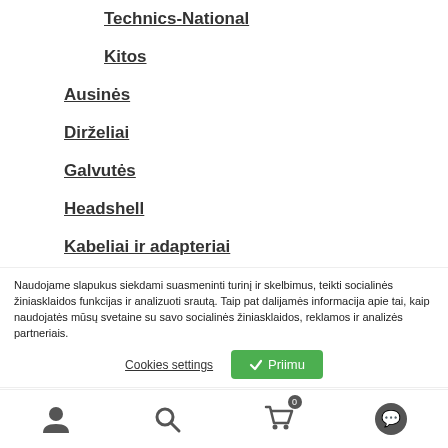Technics-National
Kitos
Ausinės
Dirželiai
Galvutės
Headshell
Kabeliai ir adapteriai
Plokštelių grotuvai (patefonai)
Priedai ir įrankiai
Stiprintuvai ir kolonėlės
Dežės ir dėklai
Naudojame slapukus siekdami suasmeninti turinį ir skelbimus, teikti socialinės žiniasklaidos funkcijas ir analizuoti srautą. Taip pat dalijamės informacija apie tai, kaip naudojatės mūsų svetaine su savo socialinės žiniasklaidos, reklamos ir analizės partneriais.
Cookies settings
Priimu